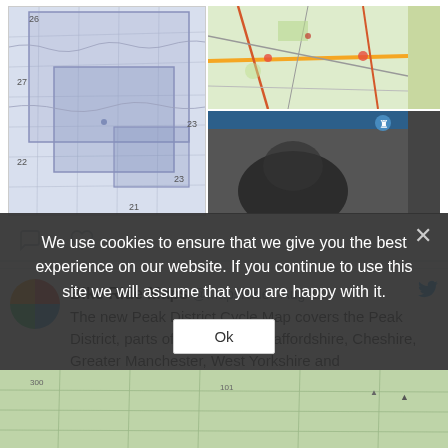[Figure (screenshot): Twitter/social media feed showing map images on the left (blue-tinted geographic map with overlapping rectangles) and two images on the right (green road map top, black-and-white photo bottom)]
[Figure (screenshot): Social media action icons - comment bubble and heart/like icon]
Bike Ride Maps @MapsRide · Aug 11
The new Peak District Cycle Map covers the Peak District, parts of Derbyshire, Staffordshire, Cheshire, Greater Manchester, West Yorkshire and South Yorkshire, plus Manchester, Leeds, Derby
We use cookies to ensure that we give you the best experience on our website. If you continue to use this site we will assume that you are happy with it.
Ok